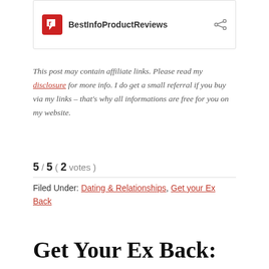BestInfoProductReviews
This post may contain affiliate links. Please read my disclosure for more info. I do get a small referral if you buy via my links – that's why all informations are free for you on my website.
5 / 5 ( 2 votes )
Filed Under: Dating & Relationships, Get your Ex Back
Get Your Ex Back: